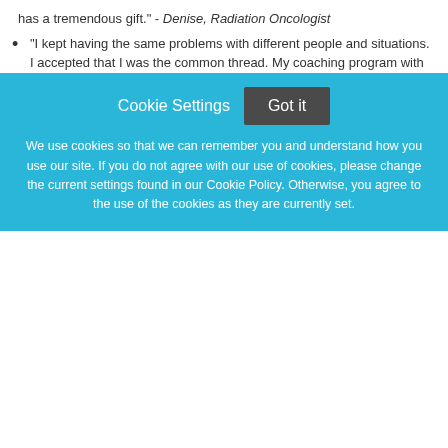has a tremendous gift." - Denise, Radiation Oncologist
"I kept having the same problems with different people and situations. I accepted that I was the common thread. My coaching program with Cheryl helped me to identify these problem areas and to make a decision to change. My interactions with people have improved tremendously as a result." - Beverly, Project Manager
What are 5 strengths you have as a coach?
Master Certified Coach
Held leadership positions within a corporation
Ability to ask powerful questions
Cookie Settings  Got it
We use cookies so that we can remember you and understand how you use our site. If you do not agree with our use of cookies, please change the current settings found in our Cookie Policy. Otherwise, you agree to the use of the cookies as they are currently set.